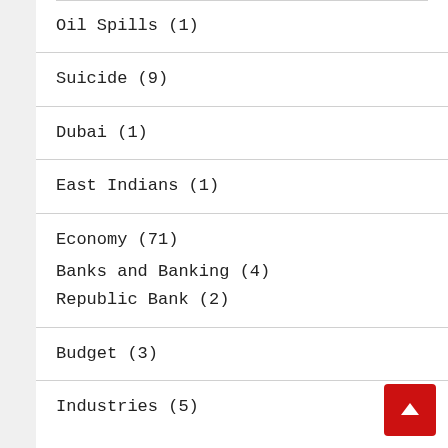Oil Spills (1)
Suicide (9)
Dubai (1)
East Indians (1)
Economy (71)
Banks and Banking (4)
Republic Bank (2)
Budget (3)
Industries (5)